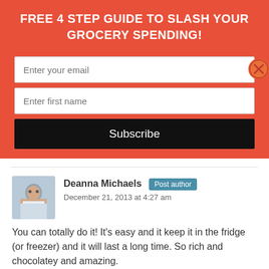FREE 4 STEP GUIDE TO SLASH YOUR GROCERY SPENDING!
[Figure (screenshot): Email subscription form with fields for email and first name, and a Subscribe button on orange background with close X button]
[Figure (photo): Author avatar photo of Deanna Michaels]
Deanna Michaels Post author December 21, 2013 at 4:27 am
You can totally do it! It's easy and it keep it in the fridge (or freezer) and it will last a long time. So rich and chocolatey and amazing.
Reply ↓